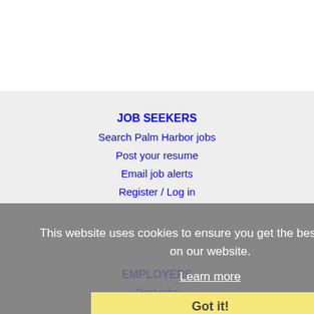JOB SEEKERS
Search Palm Harbor jobs
Post your resume
Email job alerts
Register / Log in
This website uses cookies to ensure you get the best experience on our website.
Learn more
Got it!
EMPLOYERS
Post jobs
Search resumes
Email resume alerts
Advertise